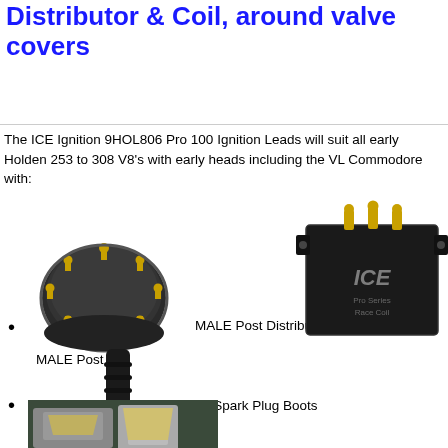Distributor & Coil, around valve covers
The ICE Ignition 9HOL806 Pro 100 Ignition Leads will suit all early Holden 253 to 308 V8's with early heads including the VL Commodore with:
MALE Post Distributor
MALE Post Coil
[Figure (photo): Black distributor cap with gold posts (MALE Post Distributor)]
[Figure (photo): ICE Pro Series Race Coil - black coil with gold terminals]
Straight Spark Plug Boots
[Figure (photo): Black straight spark plug boot]
[Figure (photo): Engine bay photo showing valve covers]